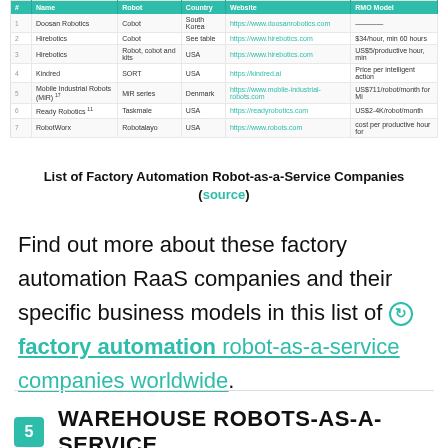[Figure (table-as-image): Screenshot of a table listing Factory Automation Robot-as-a-Service companies with columns: #, Name, Robot, Country, Website, RMO Model]
List of Factory Automation Robot-as-a-Service Companies (source)
Find out more about these factory automation RaaS companies and their specific business models in this list of ⊙ factory automation robot-as-a-service companies worldwide.
5 WAREHOUSE ROBOTS-AS-A-SERVICE